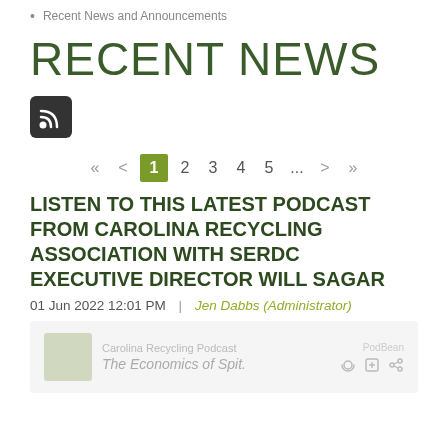Recent News and Announcements
RECENT NEWS
[Figure (other): RSS feed icon — dark rounded square with white RSS signal symbol]
« < 1 2 3 4 5 ... > »
LISTEN TO THIS LATEST PODCAST FROM CAROLINA RECYCLING ASSOCIATION WITH SERDC EXECUTIVE DIRECTOR WILL SAGAR
01 Jun 2022 12:01 PM  |  Jen Dabbs (Administrator)
[Figure (other): Carolina Recycling Podcast preview card showing 'The Economics of Spit.' podcast episode with Podbean logo and media icons]